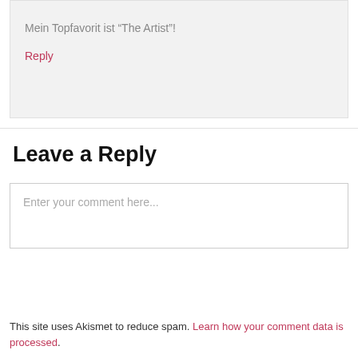Mein Topfavorit ist “The Artist”!
Reply
Leave a Reply
Enter your comment here...
This site uses Akismet to reduce spam. Learn how your comment data is processed.